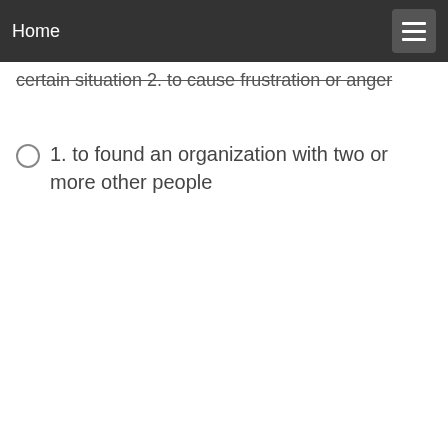Home
certain situation 2. to cause frustration or anger
1. to found an organization with two or more other people